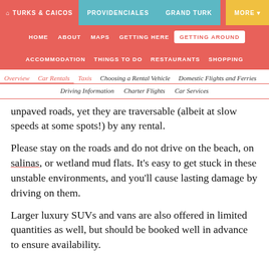TURKS & CAICOS | PROVIDENCIALES | GRAND TURK | MORE
HOME | ABOUT | MAPS | GETTING HERE | GETTING AROUND
ACCOMMODATION | THINGS TO DO | RESTAURANTS | SHOPPING
Overview | Car Rentals | Taxis | Choosing a Rental Vehicle | Domestic Flights and Ferries | Driving Information | Charter Flights | Car Services
unpaved roads, yet they are traversable (albeit at slow speeds at some spots!) by any rental.
Please stay on the roads and do not drive on the beach, on salinas, or wetland mud flats. It’s easy to get stuck in these unstable environments, and you’ll cause lasting damage by driving on them.
Larger luxury SUVs and vans are also offered in limited quantities as well, but should be booked well in advance to ensure availability.